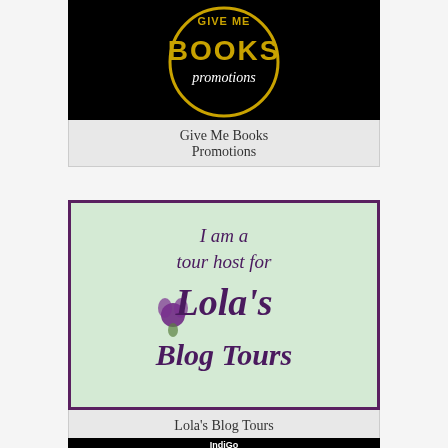[Figure (logo): Give Me Books Promotions logo - black circular badge with gold text 'BOOKS' and white script 'promotions' on black background]
Give Me Books Promotions
[Figure (logo): Lola's Blog Tours logo - light green background with purple border, script text reading 'I am a tour host for Lola's Blog Tours' with purple flower illustration]
Lola's Blog Tours
[Figure (logo): IndiGo logo - black background with rainbow-colored fan/book pages and white text 'IndiGo']